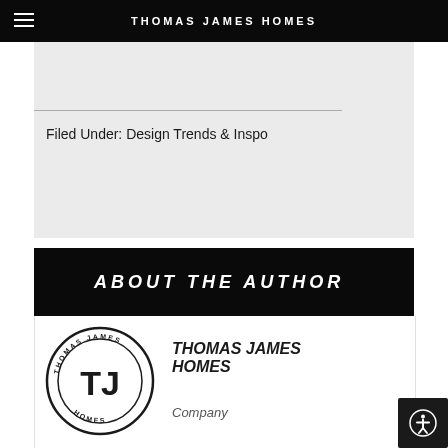THOMAS JAMES HOMES
Filed Under: Design Trends & Inspo
ABOUT THE AUTHOR
[Figure (logo): Thomas James Homes circular logo with TJ monogram and text around the ring]
THOMAS JAMES HOMES
Company